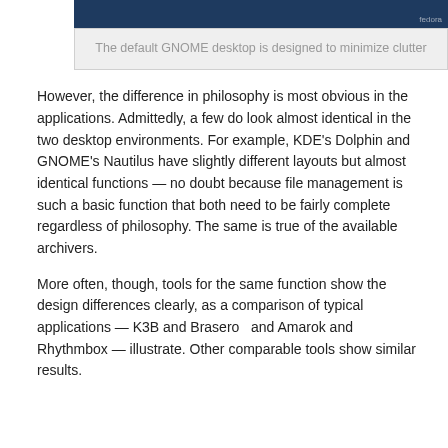[Figure (screenshot): Screenshot of the default GNOME desktop, showing a dark blue desktop background. A small 'fedora' watermark is visible in the lower right corner.]
The default GNOME desktop is designed to minimize clutter
However, the difference in philosophy is most obvious in the applications. Admittedly, a few do look almost identical in the two desktop environments. For example, KDE's Dolphin and GNOME's Nautilus have slightly different layouts but almost identical functions — no doubt because file management is such a basic function that both need to be fairly complete regardless of philosophy. The same is true of the available archivers.
More often, though, tools for the same function show the design differences clearly, as a comparison of typical applications — K3B and Brasero  and Amarok and Rhythmbox — illustrate. Other comparable tools show similar results.